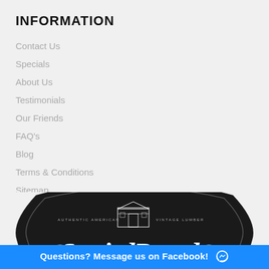INFORMATION
Contact Us
Specials
About Us
Testimonials
Our Friends
FAQ's
Blog
Terms & Conditions
Sitemap
[Figure (logo): Storied Boards vintage lumber company logo — black ornate shield shape with white decorative lettering reading 'Storied Boards' and 'Authentic American Vintage Lumber' with a barn illustration]
Questions? Message us on Facebook!